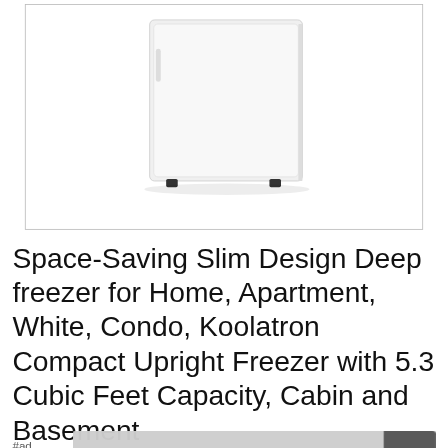[Figure (photo): White compact upright freezer product photo on white background, shown from a slightly elevated angle, with small black feet visible at the base.]
Space-Saving Slim Design Deep freezer for Home, Apartment, White, Condo, Koolatron Compact Upright Freezer with 5.3 Cubic Feet Capacity, Cabin and Basement
#ad
As an Amazon Associate I earn from qualifying purchases. This website uses the only necessary cookies to ensure you get the best experience on our website. More information
[Figure (screenshot): Thumbnail strip showing product images at the bottom of the page, partially visible.]